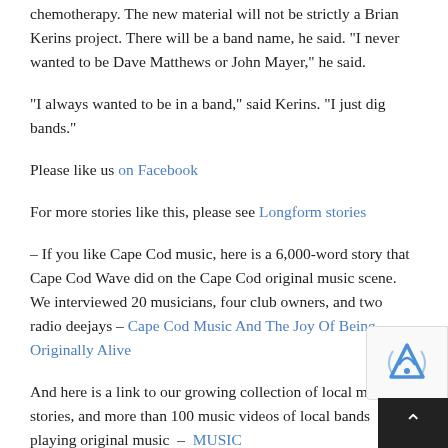chemotherapy. The new material will not be strictly a Brian Kerins project. There will be a band name, he said. “I never wanted to be Dave Matthews or John Mayer,” he said.
“I always wanted to be in a band,” said Kerins. “I just dig bands.”
Please like us on Facebook
For more stories like this, please see Longform stories
– If you like Cape Cod music, here is a 6,000-word story that Cape Cod Wave did on the Cape Cod original music scene. We interviewed 20 musicians, four club owners, and two radio deejays – Cape Cod Music And The Joy Of Being Originally Alive
And here is a link to our growing collection of local music stories, and more than 100 music videos of local bands playing original music – MUSIC
YOU CAN'T   Please see, by Brian Terry of Cape Cod Wave...